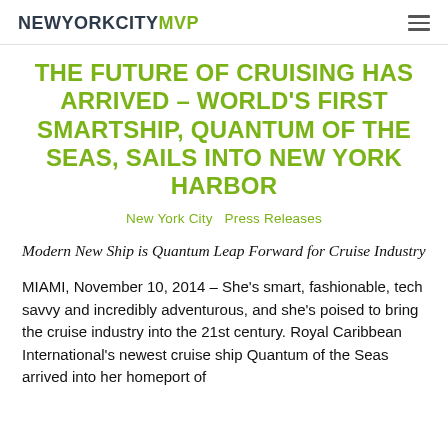NEWYORKCITYMVP
THE FUTURE OF CRUISING HAS ARRIVED – WORLD'S FIRST SMARTSHIP, QUANTUM OF THE SEAS, SAILS INTO NEW YORK HARBOR
New York City  Press Releases
Modern New Ship is Quantum Leap Forward for Cruise Industry
MIAMI, November 10, 2014 – She's smart, fashionable, tech savvy and incredibly adventurous, and she's poised to bring the cruise industry into the 21st century. Royal Caribbean International's newest cruise ship Quantum of the Seas arrived into her homeport of